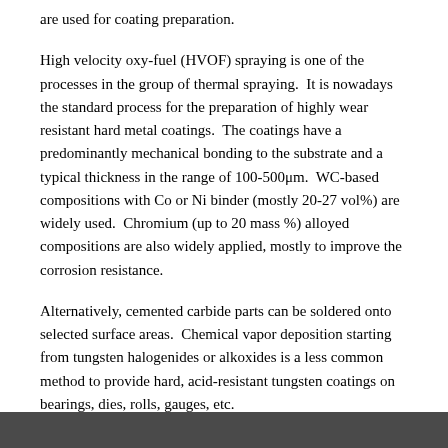are used for coating preparation.
High velocity oxy-fuel (HVOF) spraying is one of the processes in the group of thermal spraying.  It is nowadays the standard process for the preparation of highly wear resistant hard metal coatings.  The coatings have a predominantly mechanical bonding to the substrate and a typical thickness in the range of 100-500μm.  WC-based compositions with Co or Ni binder (mostly 20-27 vol%) are widely used.  Chromium (up to 20 mass %) alloyed compositions are also widely applied, mostly to improve the corrosion resistance.
Alternatively, cemented carbide parts can be soldered onto selected surface areas.  Chemical vapor deposition starting from tungsten halogenides or alkoxides is a less common method to provide hard, acid-resistant tungsten coatings on bearings, dies, rolls, gauges, etc.